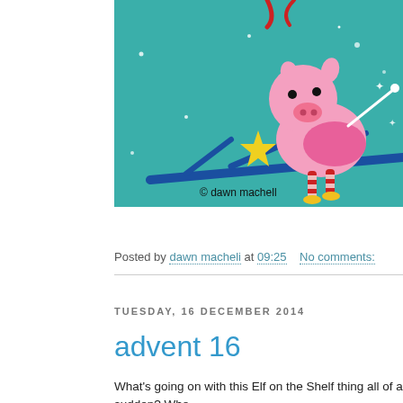[Figure (illustration): Cartoon illustration of a pink pig fairy/elf character sitting on a blue branch with a yellow star, on a teal background. Copyright text reads 'dawn machell' in the lower right area.]
Posted by dawn macheli at 09:25   No comments:
TUESDAY, 16 DECEMBER 2014
advent 16
What's going on with this Elf on the Shelf thing all of a sudden? Whe just missed it up to now?
There are people putting pictures of the damned thing everywhere.